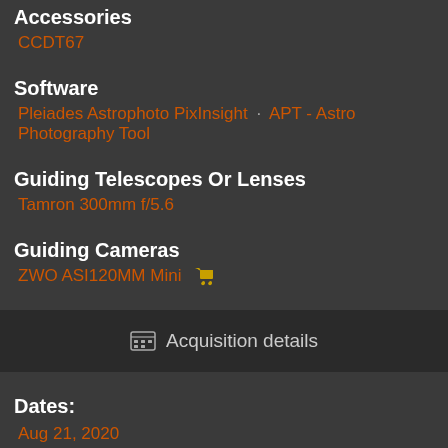Accessories
CCDT67
Software
Pleiades Astrophoto PixInsight · APT - Astro Photography Tool
Guiding Telescopes Or Lenses
Tamron 300mm f/5.6
Guiding Cameras
ZWO ASI120MM Mini
Acquisition details
Dates:
Aug 21, 2020